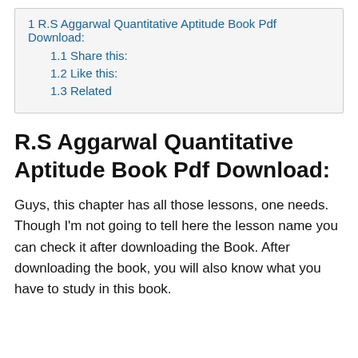1 R.S Aggarwal Quantitative Aptitude Book Pdf Download:
1.1 Share this:
1.2 Like this:
1.3 Related
R.S Aggarwal Quantitative Aptitude Book Pdf Download:
Guys, this chapter has all those lessons, one needs. Though I'm not going to tell here the lesson name you can check it after downloading the Book. After downloading the book, you will also know what you have to study in this book.